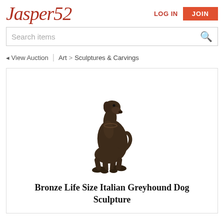Jasper52 | LOG IN | JOIN
Search items
◄ View Auction | Art > Sculptures & Carvings
[Figure (photo): Bronze sculpture of a sitting Italian Greyhound dog, dark brown patina, viewed from the front-side, on a white background.]
Bronze Life Size Italian Greyhound Dog Sculpture